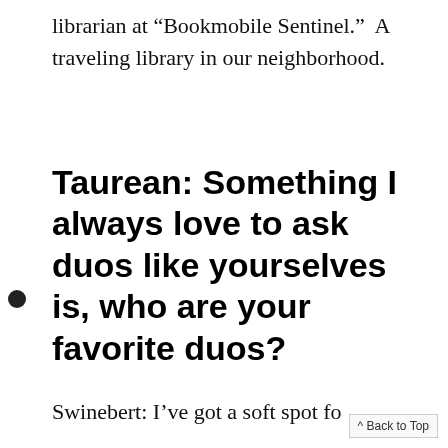librarian at “Bookmobile Sentinel.”  A traveling library in our neighborhood.
Taurean: Something I always love to ask duos like yourselves is, who are your favorite duos?
Swinebert: I’ve got a soft spot fo
^ Back to Top